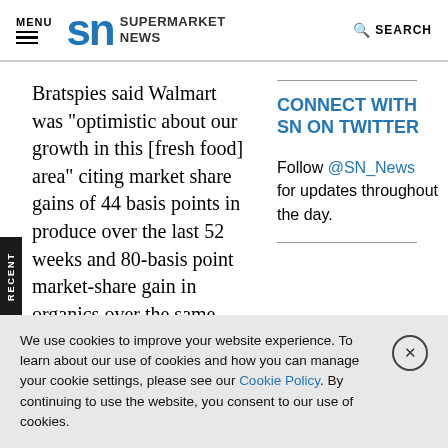MENU | SN SUPERMARKET NEWS | SEARCH
Bratspies said Walmart was "optimistic about our growth in this [fresh food] area" citing market share gains of 44 basis points in produce over the last 52 weeks and 80-basis point market-share gain in organics over the same period.
CONNECT WITH SN ON TWITTER
Follow @SN_News for updates throughout the day.
We use cookies to improve your website experience. To learn about our use of cookies and how you can manage your cookie settings, please see our Cookie Policy. By continuing to use the website, you consent to our use of cookies.